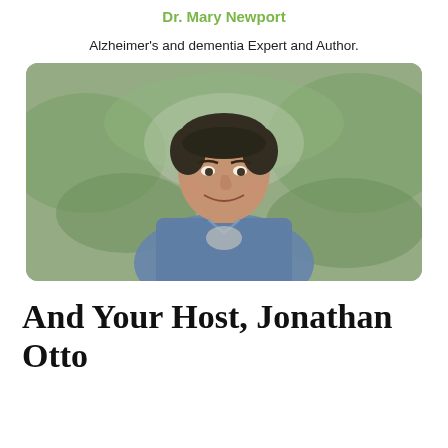Dr. Mary Newport
Alzheimer's and dementia Expert and Author.
[Figure (photo): Portrait photo of a smiling man with dark hair wearing a denim shirt, outdoors with green foliage in background, rounded rectangle frame]
And Your Host, Jonathan Otto